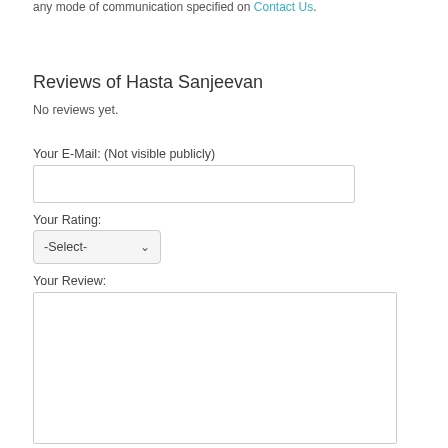any mode of communication specified on Contact Us.
Reviews of Hasta Sanjeevan
No reviews yet.
Your E-Mail: (Not visible publicly)
Your Rating:
Your Review: